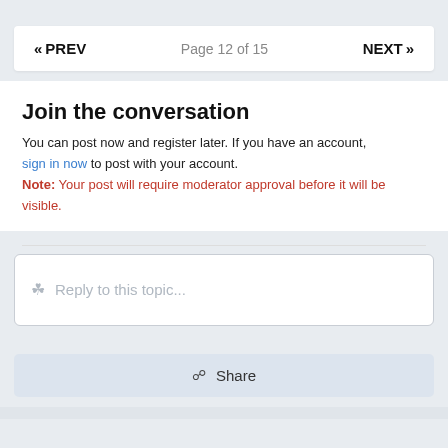« PREV   Page 12 of 15   NEXT »
Join the conversation
You can post now and register later. If you have an account, sign in now to post with your account.
Note: Your post will require moderator approval before it will be visible.
Reply to this topic...
Share